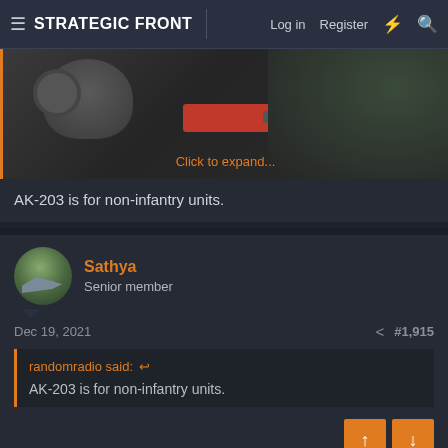STRATEGIC FRONT | Log in  Register
[Figure (photo): Partially visible image of a soldier with headphones and a rifle with red component, with 'Click to expand...' overlay text]
AK-203 is for non-infantry units.
Sathya
Senior member
Dec 19, 2021	#1,915
randomradio said:
AK-203 is for non-infantry units.